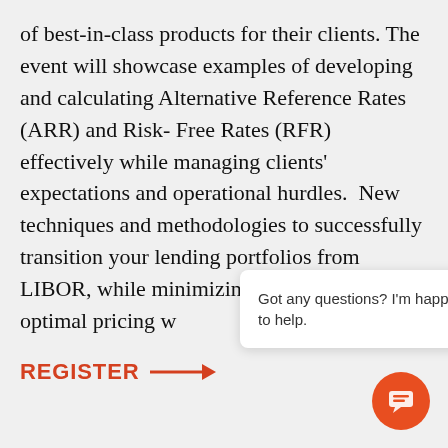of best-in-class products for their clients. The event will showcase examples of developing and calculating Alternative Reference Rates (ARR) and Risk- Free Rates (RFR) effectively while managing clients' expectations and operational hurdles.  New techniques and methodologies to successfully transition your lending portfolios from LIBOR, while minimizing optimal pricing w
REGISTER →
Got any questions? I'm happy to help.